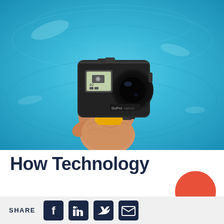[Figure (photo): A hand holding a GoPro action camera above blue rippling pool water. The camera is in a black protective case with a yellow mount handle. The hand emerges from the water holding the camera upward.]
How Technology
SHARE
[Figure (other): Social media sharing icons: Facebook, LinkedIn, Twitter, Email, and a red circle overlay]